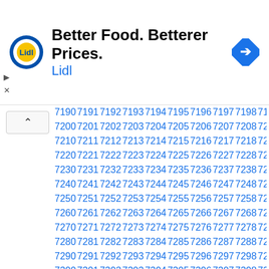[Figure (logo): Lidl advertisement banner with Lidl logo, text 'Better Food. Betterer Prices.' and 'Lidl' in blue, with a navigation arrow icon on the right]
| 7190 | 7191 | 7192 | 7193 | 7194 | 7195 | 7196 | 7197 | 7198 | 7199 |
| 7200 | 7201 | 7202 | 7203 | 7204 | 7205 | 7206 | 7207 | 7208 | 7209 |
| 7210 | 7211 | 7212 | 7213 | 7214 | 7215 | 7216 | 7217 | 7218 | 7219 |
| 7220 | 7221 | 7222 | 7223 | 7224 | 7225 | 7226 | 7227 | 7228 | 7229 |
| 7230 | 7231 | 7232 | 7233 | 7234 | 7235 | 7236 | 7237 | 7238 | 7239 |
| 7240 | 7241 | 7242 | 7243 | 7244 | 7245 | 7246 | 7247 | 7248 | 7249 |
| 7250 | 7251 | 7252 | 7253 | 7254 | 7255 | 7256 | 7257 | 7258 | 7259 |
| 7260 | 7261 | 7262 | 7263 | 7264 | 7265 | 7266 | 7267 | 7268 | 7269 |
| 7270 | 7271 | 7272 | 7273 | 7274 | 7275 | 7276 | 7277 | 7278 | 7279 |
| 7280 | 7281 | 7282 | 7283 | 7284 | 7285 | 7286 | 7287 | 7288 | 7289 |
| 7290 | 7291 | 7292 | 7293 | 7294 | 7295 | 7296 | 7297 | 7298 | 7299 |
| 7300 | 7301 | 7302 | 7303 | 7304 | 7305 | 7306 | 7307 | 7308 | 7309 |
| 7310 | 7311 | 7312 | 7313 | 7314 | 7315 | 7316 | 7317 | 7318 | 7319 |
| 7320 | 7321 | 7322 | 7323 | 7324 | 7325 | 7326 | 7327 | 7328 | 7329 |
| 7330 | 7331 | 7332 | 7333 | 7334 | 7335 | 7336 | 7337 | 7338 | 7339 |
| 7340 | 7341 | 7342 | 7343 | 7344 | 7345 | 7346 | 7347 | 7348 | 7349 |
| 7350 | 7351 | 7352 | 7353 | 7354 | 7355 | 7356 | 7357 | 7358 | 7359 |
| 7360 | 7361 | 7362 | 7363 | 7364 | 7365 | 7366 | 7367 | 7368 | 7369 |